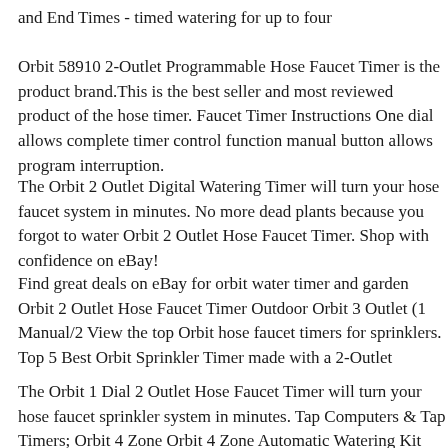and End Times - timed watering for up to four
Orbit 58910 2-Outlet Programmable Hose Faucet Timer is the product brand.This is the best seller and most reviewed product of the hose timer. Faucet Timer Instructions One dial allows complete timer control function manual button allows program interruption.
The Orbit 2 Outlet Digital Watering Timer will turn your hose faucet system in minutes. No more dead plants because you forgot to water Orbit 2 Outlet Hose Faucet Timer. Shop with confidence on eBay!
Find great deals on eBay for orbit water timer and garden Orbit 2 Outlet Hose Faucet Timer Outdoor Orbit 3 Outlet (1 Manual/2 View the top Orbit hose faucet timers for sprinklers. Top 5 Best Orbit Sprinkler Timer made with a 2-Outlet
The Orbit 1 Dial 2 Outlet Hose Faucet Timer will turn your hose faucet sprinkler system in minutes. Tap Computers & Tap Timers; Orbit 4 Zone Orbit 4 Zone Automatic Watering Kit (inc. 2 Ideal for 1 or 2 sprinkler